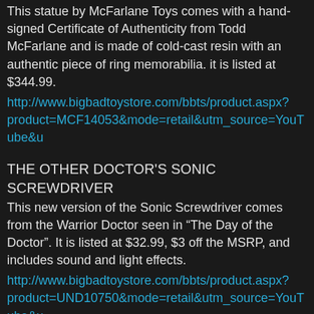This statue by McFarlane Toys comes with a hand-signed Certificate of Authenticity from Todd McFarlane and is made of cold-cast resin with an authentic piece of ring memorabilia. it is listed at $344.99.
http://www.bigbadtoystore.com/bbts/product.aspx?product=MCF14053&mode=retail&utm_source=YouTube&u
THE OTHER DOCTOR'S SONIC SCREWDRIVER
This new version of the Sonic Screwdriver comes from the Warrior Doctor seen in “The Day of the Doctor”. It is listed at $32.99, $3 off the MSRP, and includes sound and light effects.
http://www.bigbadtoystore.com/bbts/product.aspx?product=UND10750&mode=retail&utm_source=YouTube&u
ROMPER ZOMBIES
These 8″ urban resin figures of 3rd graders who have turned into zombies are ready to overrun your collection. You can choose from Andie, Bobbie, Colie